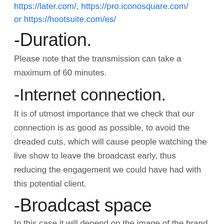https://later.com/, https://pro.iconosquare.com/ or https://hootsuite.com/es/
-Duration.
Please note that the transmission can take a maximum of 60 minutes.
-Internet connection.
It is of utmost importance that we check that our connection is as good as possible, to avoid the dreaded cuts, which will cause people watching the live show to leave the broadcast early, thus reducing the engagement we could have had with this potential client.
-Broadcast space
In this case it will depend on the image of the brand and the...